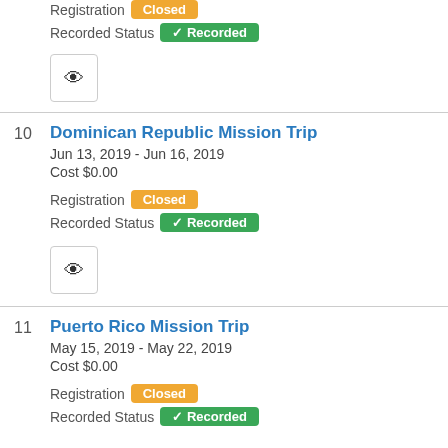Registration Closed
Recorded Status ✔ Recorded
10 Dominican Republic Mission Trip
Jun 13, 2019 - Jun 16, 2019
Cost $0.00
Registration Closed
Recorded Status ✔ Recorded
11 Puerto Rico Mission Trip
May 15, 2019 - May 22, 2019
Cost $0.00
Registration Closed
Recorded Status ✔ Recorded